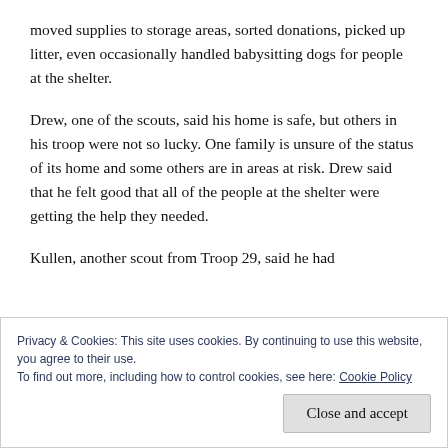moved supplies to storage areas, sorted donations, picked up litter, even occasionally handled babysitting dogs for people at the shelter.
Drew, one of the scouts, said his home is safe, but others in his troop were not so lucky. One family is unsure of the status of its home and some others are in areas at risk. Drew said that he felt good that all of the people at the shelter were getting the help they needed.
Kullen, another scout from Troop 29, said he had
Privacy & Cookies: This site uses cookies. By continuing to use this website, you agree to their use.
To find out more, including how to control cookies, see here: Cookie Policy